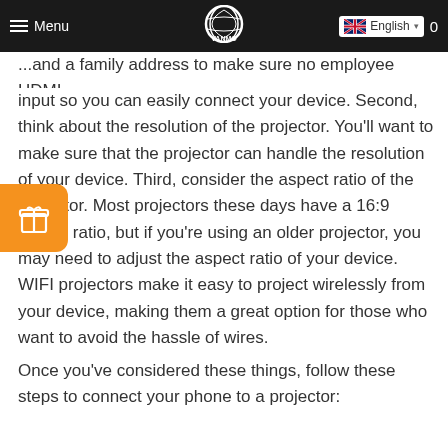Menu | VANMO | English | 0
and a family address to make sure no employee HDMI input so you can easily connect your device. Second, think about the resolution of the projector. You'll want to make sure that the projector can handle the resolution of your device. Third, consider the aspect ratio of the projector. Most projectors these days have a 16:9 aspect ratio, but if you're using an older projector, you may need to adjust the aspect ratio of your device. WIFI projectors make it easy to project wirelessly from your device, making them a great option for those who want to avoid the hassle of wires.
Once you've considered these things, follow these steps to connect your phone to a projector: